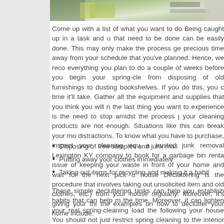[Figure (photo): Photo strip of a cleaned/organized room or kitchen area with green and neutral tones visible at top of page]
Come up with a list of what you want to do  Being caught up in a task and u... that need to be done can be easily done. This may only make the process ge... precious time away from your schedule that you've planned.   Hence, we reco... everything you plan to do a couple of weeks before you begin your spring-cle... from disposing of old furnishings to dusting bookshelves. If you do this, you c... time it'll take.   Gather all the equipment and supplies that you think you will n... the last thing you want to experience is the need to stop amidst the process j... your cleaning products are not enough. Situations like this can break your mo... distractions.   To know what you have to purchase, inspect your cleaning equ... a trusted junk removal Lexington KY company to book for a garbage bin renta... issue of keeping your waste in front of your home and wait for the next pick u... house  Decluttering is the procedure that involves taking out unsolicited item... and old clothes, etc.) from your house regularly. Moreover, it's giving your thi... the examples on how to declutter your home include:
Disposing of free samples and junk mail
Putting away your clothes immediately
Taking out items for recycling and making it a habit
These simple decluttering tasks can help you establish habits that can help m... the time. Moreover, it can lighten your real spring-cleaning load the following... your house  You should not just restrict spring cleaning to the interior areas o... your house, like the roof and the lawn, to determine what requires to be repla... checkup can also aid you in determining spaces in your home that need prof...